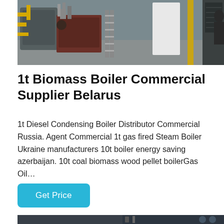[Figure (photo): Industrial boiler room with large yellow-piped boiler equipment, metal stairs, and machinery on a concrete floor. A person is partially visible on the right.]
1t Biomass Boiler Commercial Supplier Belarus
1t Diesel Condensing Boiler Distributor Commercial Russia. Agent Commercial 1t gas fired Steam Boiler Ukraine manufacturers 10t boiler energy saving azerbaijan. 10t coal biomass wood pellet boilerGas Oil…
Get Price
[Figure (photo): Partial view of industrial boiler or pipe equipment, dark background, bottom of page.]